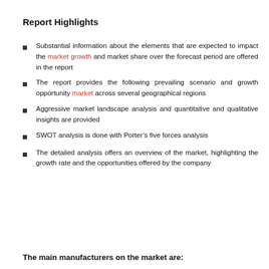Report Highlights
Substantial information about the elements that are expected to impact the market growth and market share over the forecast period are offered in the report
The report provides the following prevailing scenario and growth opportunity market across several geographical regions
Aggressive market landscape analysis and quantitative and qualitative insights are provided
SWOT analysis is done with Porter’s five forces analysis
The detailed analysis offers an overview of the market, highlighting the growth rate and the opportunities offered by the company
The main manufacturers on the market are: